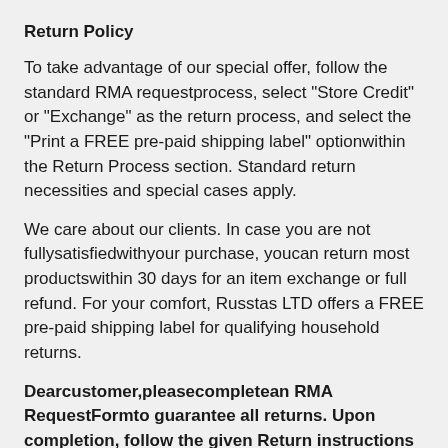Return Policy
To take advantage of our special offer, follow the standard RMA requestprocess, select "Store Credit" or "Exchange" as the return process, and select the "Print a FREE pre-paid shipping label" optionwithin the Return Process section. Standard return necessities and special cases apply.
We care about our clients. In case you are not fullysatisfiedwithyour purchase, youcan return most productswithin 30 days for an item exchange or full refund. For your comfort, Russtas LTD offers a FREE pre-paid shipping label for qualifying household returns.
Dearcustomer,pleasecompletean RMA RequestFormto guarantee all returns. Upon completion, follow the given Return instructions and return the purchasewithin 10 workingdays to guarantee that your trade or refund is handled in time.
You can see most regularlyasked questions regarding our Return Policybelow: